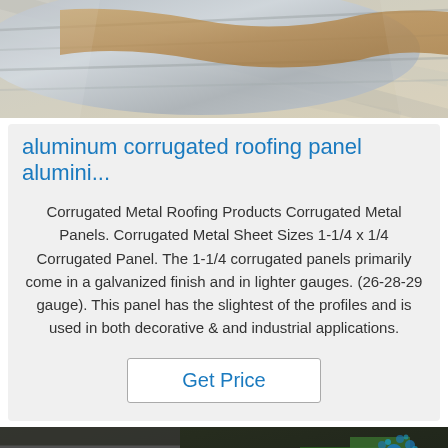[Figure (photo): Close-up photo of aluminum corrugated roofing panel material, showing metallic silver surface and wooden edge]
aluminum corrugated roofing panel alumini...
Corrugated Metal Roofing Products Corrugated Metal Panels. Corrugated Metal Sheet Sizes 1-1/4 x 1/4 Corrugated Panel. The 1-1/4 corrugated panels primarily come in a galvanized finish and in lighter gauges. (26-28-29 gauge). This panel has the slightest of the profiles and is used in both decorative & and industrial applications.
Get Price
[Figure (photo): Photo showing corrugated metal roofing panels and materials in an industrial setting with various colored items]